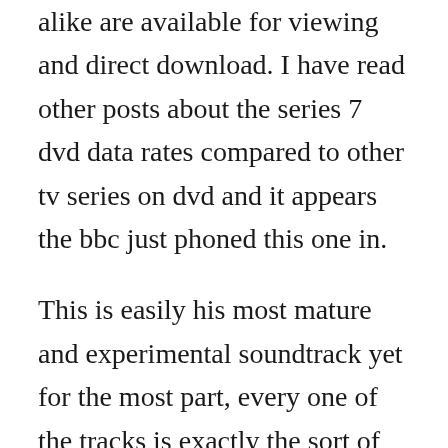alike are available for viewing and direct download. I have read other posts about the series 7 dvd data rates compared to other tv series on dvd and it appears the bbc just phoned this one in.
This is easily his most mature and experimental soundtrack yet for the most part, every one of the tracks is exactly the sort of thing youd expect to hear backing a major. Yes, it has some good episodes and the first 1010 ive given to an episode since the lodger in my series 5. The doctor has a habit of going straight into the line of fire...